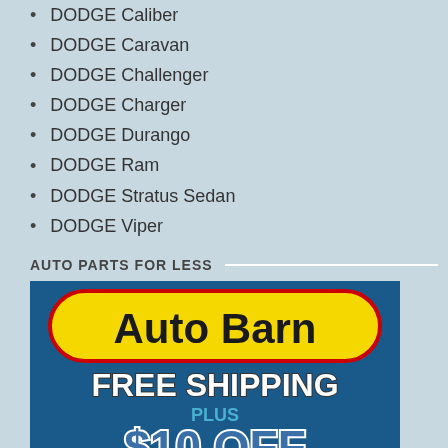DODGE Caliber
DODGE Caravan
DODGE Challenger
DODGE Charger
DODGE Durango
DODGE Ram
DODGE Stratus Sedan
DODGE Viper
AUTO PARTS FOR LESS
[Figure (illustration): Auto Barn advertisement banner showing logo on yellow background, FREE SHIPPING text, PLUS, and $10 OFF on orders of $75 or more]